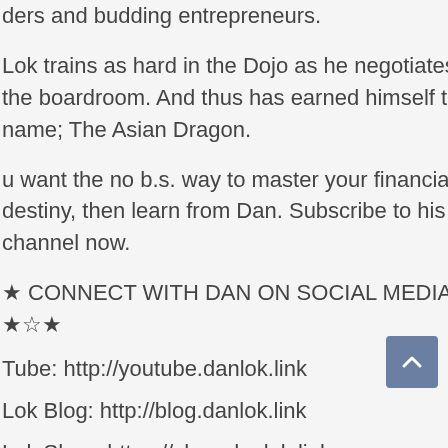ders and budding entrepreneurs.
Lok trains as hard in the Dojo as he negotiates in the boardroom. And thus has earned himself the name; The Asian Dragon.
u want the no b.s. way to master your financial destiny, then learn from Dan. Subscribe to his channel now.
★ CONNECT WITH DAN ON SOCIAL MEDIA ★☆★
Tube: http://youtube.danlok.link
Lok Blog: http://blog.danlok.link
Lok Shop: https://shop.danlok.link
book: http://facebook.danlok.link